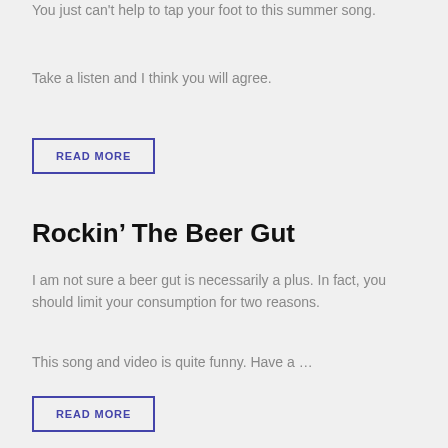You just can't help to tap your foot to this summer song.
Take a listen and I think you will agree.
READ MORE
Rockin’ The Beer Gut
I am not sure a beer gut is necessarily a plus. In fact, you should limit your consumption for two reasons.
This song and video is quite funny. Have a …
READ MORE